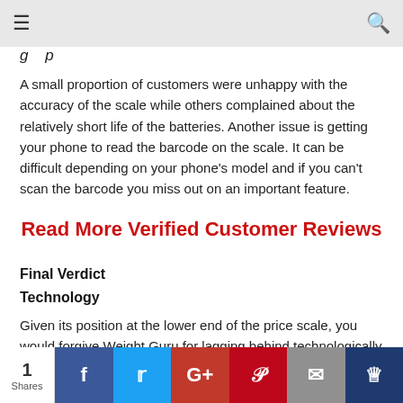☰  [nav bar]  🔍
g p
A small proportion of customers were unhappy with the accuracy of the scale while others complained about the relatively short life of the batteries. Another issue is getting your phone to read the barcode on the scale. It can be difficult depending on your phone's model and if you can't scan the barcode you miss out on an important feature.
Read More Verified Customer Reviews
Final Verdict
Technology
Given its position at the lower end of the price scale, you would forgive Weight Guru for lagging behind technologically speaking. However, it offers a number of great features and the app is excellent:
1 Shares | Facebook | Twitter | Google+ | Pinterest | Email | Crown